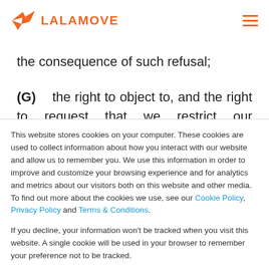LALAMOVE
the consequence of such refusal;
(G)    the right to object to, and the right to request that we restrict our processing of your
This website stores cookies on your computer. These cookies are used to collect information about how you interact with our website and allow us to remember you. We use this information in order to improve and customize your browsing experience and for analytics and metrics about our visitors both on this website and other media. To find out more about the cookies we use, see our Cookie Policy, Privacy Policy and Terms & Conditions.
If you decline, your information won’t be tracked when you visit this website. A single cookie will be used in your browser to remember your preference not to be tracked.